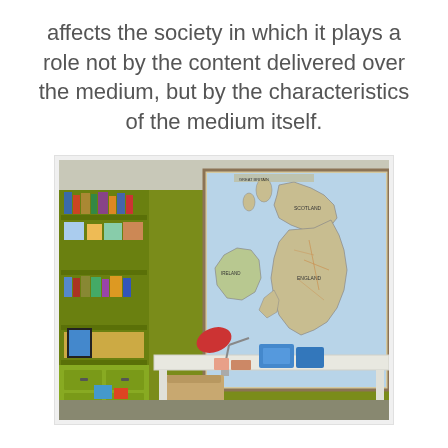affects the society in which it plays a role not by the content delivered over the medium, but by the characteristics of the medium itself.
[Figure (photo): Interior room photo showing a green-walled study/children's room with a large wall map of Great Britain and Ireland mounted on the wall, a white desk with a red lamp and blue storage boxes, a wooden chair, and a green bookshelf on the left filled with books and items.]